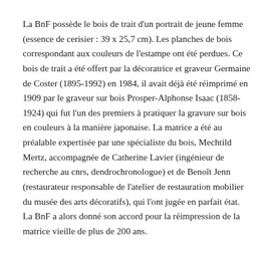La BnF possède le bois de trait d'un portrait de jeune femme (essence de cerisier : 39 x 25,7 cm). Les planches de bois correspondant aux couleurs de l'estampe ont été perdues. Ce bois de trait a été offert par la décoratrice et graveur Germaine de Coster (1895-1992) en 1984, il avait déjà été réimprimé en 1909 par le graveur sur bois Prosper-Alphonse Isaac (1858-1924) qui fut l'un des premiers à pratiquer la gravure sur bois en couleurs à la manière japonaise. La matrice a été au préalable expertisée par une spécialiste du bois, Mechtild Mertz, accompagnée de Catherine Lavier (ingénieur de recherche au cnrs, dendrochronologue) et de Benoît Jenn (restaurateur responsable de l'atelier de restauration mobilier du musée des arts décoratifs), qui l'ont jugée en parfait état. La BnF a alors donné son accord pour la réimpression de la matrice vieille de plus de 200 ans.